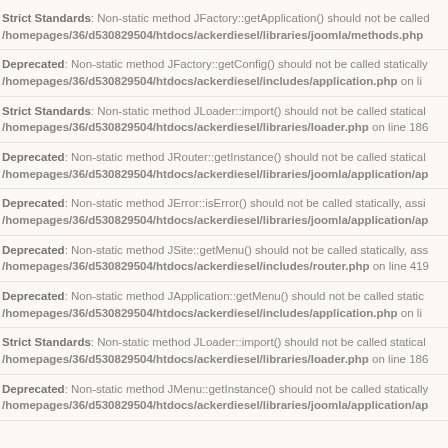Strict Standards: Non-static method JFactory::getApplication() should not be called statically /homepages/36/d530829504/htdocs/ackerdiesel/libraries/joomla/methods.php
Deprecated: Non-static method JFactory::getConfig() should not be called statically /homepages/36/d530829504/htdocs/ackerdiesel/includes/application.php on li
Strict Standards: Non-static method JLoader::import() should not be called statically /homepages/36/d530829504/htdocs/ackerdiesel/libraries/loader.php on line 186
Deprecated: Non-static method JRouter::getInstance() should not be called statically /homepages/36/d530829504/htdocs/ackerdiesel/libraries/joomla/application/ap
Deprecated: Non-static method JError::isError() should not be called statically, assi /homepages/36/d530829504/htdocs/ackerdiesel/libraries/joomla/application/ap
Deprecated: Non-static method JSite::getMenu() should not be called statically, ass /homepages/36/d530829504/htdocs/ackerdiesel/includes/router.php on line 419
Deprecated: Non-static method JApplication::getMenu() should not be called statically /homepages/36/d530829504/htdocs/ackerdiesel/includes/application.php on li
Strict Standards: Non-static method JLoader::import() should not be called statically /homepages/36/d530829504/htdocs/ackerdiesel/libraries/loader.php on line 186
Deprecated: Non-static method JMenu::getInstance() should not be called statically /homepages/36/d530829504/htdocs/ackerdiesel/libraries/joomla/application/ap